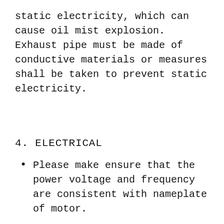static electricity, which can cause oil mist explosion. Exhaust pipe must be made of conductive materials or measures shall be taken to prevent static electricity.
4. ELECTRICAL
Please make ensure that the power voltage and frequency are consistent with nameplate of motor.
Install the motor filter according to the EN60204-1 standard.